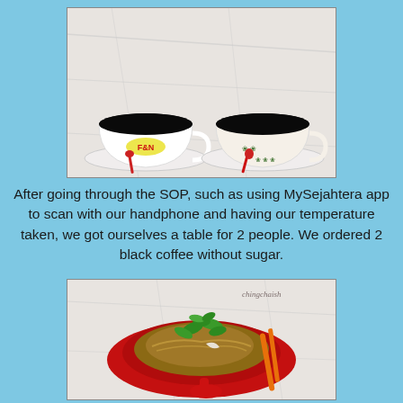[Figure (photo): Two cups of black coffee on white saucers on a marble surface. The left cup is a white mug with F&N logo and a red spoon. The right cup is a floral-patterned mug with a red heart-shaped spoon.]
After going through the SOP, such as using MySejahtera app to scan with our handphone and having our temperature taken, we got ourselves a table for 2 people. We ordered 2 black coffee without sugar.
[Figure (photo): A red plate of food (appears to be fried noodles or similar dish) topped with fresh basil leaves, on a marble surface. An orange plastic spoon is visible. Watermark reads 'chingchaish'.]